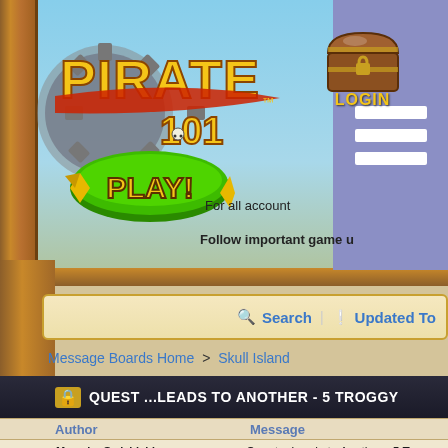[Figure (screenshot): Pirate101 game website screenshot showing the logo with 'PIRATE 101' text and a green 'PLAY!' button, a treasure chest with LOGIN link, a purple hamburger menu, search bar, breadcrumb navigation showing 'Message Boards Home > Skull Island', and a thread title 'QUEST ...LEADS TO ANOTHER - 5 TROGGY' with author column showing 'MORGRIM OWLSHIELD' and message column.]
PIRATE 101
PLAY!
LOGIN
For all account
Follow important game u
Search
Updated To
Message Boards Home > Skull Island
QUEST ...LEADS TO ANOTHER - 5 TROGGY
| Author | Message |
| --- | --- |
| MORGRIM OWLSHIELD | Quest ...Leads to Another - 5 T |